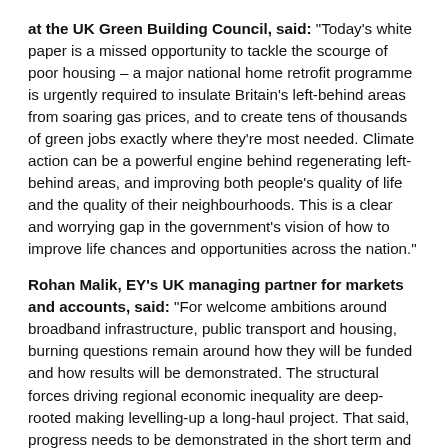at the UK Green Building Council, said: "Today's white paper is a missed opportunity to tackle the scourge of poor housing – a major national home retrofit programme is urgently required to insulate Britain's left-behind areas from soaring gas prices, and to create tens of thousands of green jobs exactly where they're most needed. Climate action can be a powerful engine behind regenerating left-behind areas, and improving both people's quality of life and the quality of their neighbourhoods. This is a clear and worrying gap in the government's vision of how to improve life chances and opportunities across the nation."
Rohan Malik, EY's UK managing partner for markets and accounts, said: "For welcome ambitions around broadband infrastructure, public transport and housing, burning questions remain around how they will be funded and how results will be demonstrated. The structural forces driving regional economic inequality are deep-rooted making levelling-up a long-haul project. That said, progress needs to be demonstrated in the short term and following the publication of the white paper the government will now need to define a clear action plan on what happens next. Emphasis on the role levelling-up can play in our sustainable economic recovery and the green industrial revolution is curiously absent."
Chris Richards, director of policy at the Institution of Civil